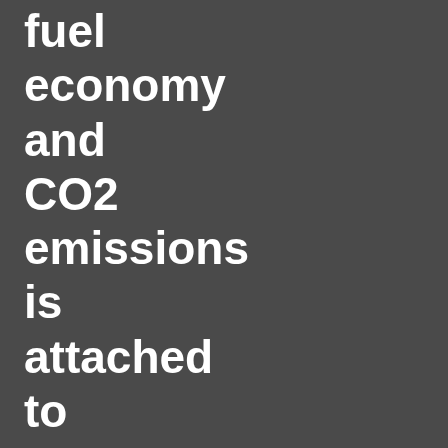fuel economy and CO2 emissions is attached to or displayed near, in